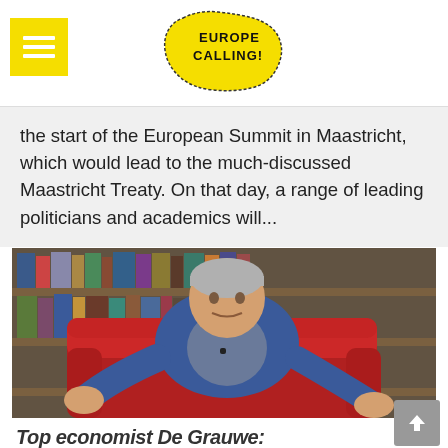EUROPE CALLING!
the start of the European Summit in Maastricht, which would lead to the much-discussed Maastricht Treaty. On that day, a range of leading politicians and academics will...
[Figure (photo): A man in a blue blazer sitting in a red armchair in front of a bookshelf, gesturing with both hands while speaking.]
Top economist De Grauwe: